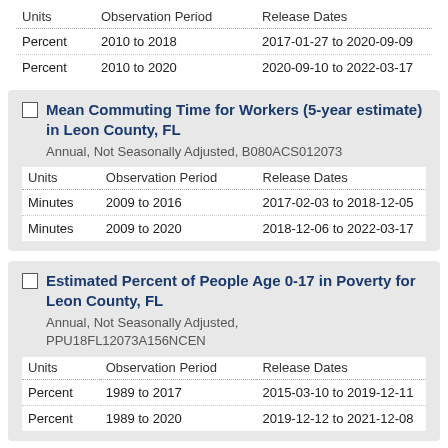| Units | Observation Period | Release Dates |
| --- | --- | --- |
| Percent | 2010 to 2018 | 2017-01-27 to 2020-09-09 |
| Percent | 2010 to 2020 | 2020-09-10 to 2022-03-17 |
Mean Commuting Time for Workers (5-year estimate) in Leon County, FL
Annual, Not Seasonally Adjusted, B080ACS012073
| Units | Observation Period | Release Dates |
| --- | --- | --- |
| Minutes | 2009 to 2016 | 2017-02-03 to 2018-12-05 |
| Minutes | 2009 to 2020 | 2018-12-06 to 2022-03-17 |
Estimated Percent of People Age 0-17 in Poverty for Leon County, FL
Annual, Not Seasonally Adjusted, PPU18FL12073A156NCEN
| Units | Observation Period | Release Dates |
| --- | --- | --- |
| Percent | 1989 to 2017 | 2015-03-10 to 2019-12-11 |
| Percent | 1989 to 2020 | 2019-12-12 to 2021-12-08 |